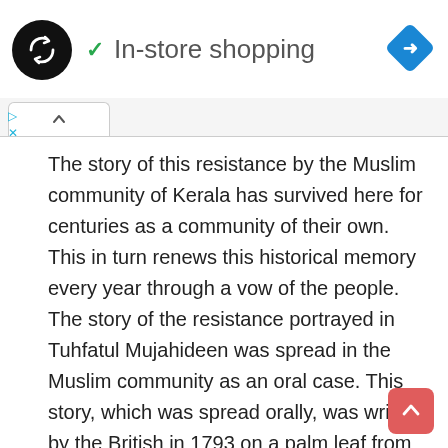In-store shopping
The story of this resistance by the Muslim community of Kerala has survived here for centuries as a community of their own. This in turn renews this historical memory every year through a vow of the people. The story of the resistance portrayed in Tuhfatul Mujahideen was spread in the Muslim community as an oral case. This story, which was spread orally, was written by the British in 1793 on a palm leaf from the Great Khasi of Kozhikode. The document is kept in the Library and Records of the India Office, London under the title Keralavarthamanam. The fact that the author was able to copy the document during his research in London is included in this book as a